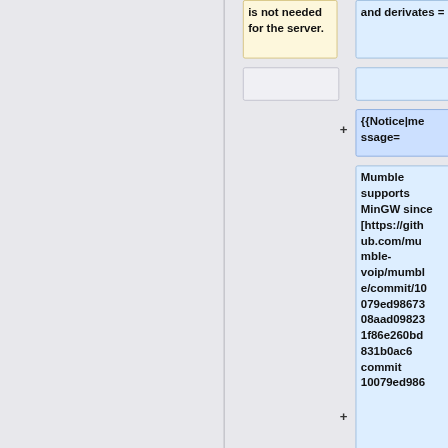is not needed for the server.
and derivates =
{{Notice|message=
Mumble supports MinGW since [https://github.com/mumble-voip/mumble/commit/10079ed9867308aad098231f86e260bd831b0ac6 commit 10079ed986